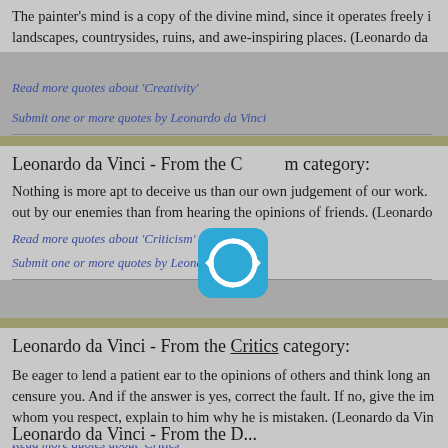The painter's mind is a copy of the divine mind, since it operates freely in landscapes, countrysides, ruins, and awe-inspiring places. (Leonardo da
Read more quotes about 'Creativity'
Submit one or more quotes by Leonardo da Vinci
Leonardo da Vinci - From the Criticism category:
Nothing is more apt to deceive us than our own judgement of our work. We derive more advantage from having our faults pointed out by our enemies than from hearing the opinions of friends. (Leonardo
Read more quotes about 'Criticism'
Submit one or more quotes by Leonardo da Vinci
Leonardo da Vinci - From the Critics category:
Be eager to lend a patient ear to the opinions of others and think long and carefully whether those who censure you. And if the answer is yes, correct the fault. If no, give the impression of having misunderstood him whom you respect, explain to him why he is mistaken. (Leonardo da Vin
Read more quotes about 'Critics'
Submit one or more quotes by Leonardo da Vinci
Leonardo da Vinci - From the D...